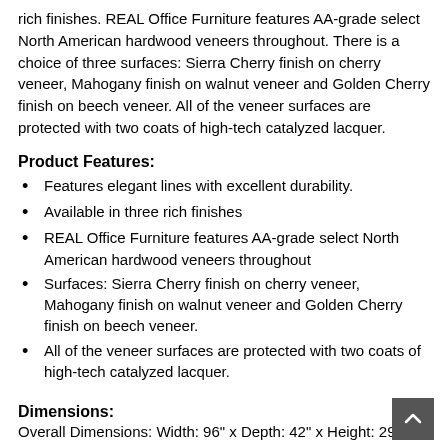rich finishes. REAL Office Furniture features AA-grade select North American hardwood veneers throughout. There is a choice of three surfaces: Sierra Cherry finish on cherry veneer, Mahogany finish on walnut veneer and Golden Cherry finish on beech veneer. All of the veneer surfaces are protected with two coats of high-tech catalyzed lacquer.
Product Features:
Features elegant lines with excellent durability.
Available in three rich finishes
REAL Office Furniture features AA-grade select North American hardwood veneers throughout
Surfaces: Sierra Cherry finish on cherry veneer, Mahogany finish on walnut veneer and Golden Cherry finish on beech veneer.
All of the veneer surfaces are protected with two coats of high-tech catalyzed lacquer.
Dimensions:
Overall Dimensions: Width: 96" x Depth: 42" x Height: 29